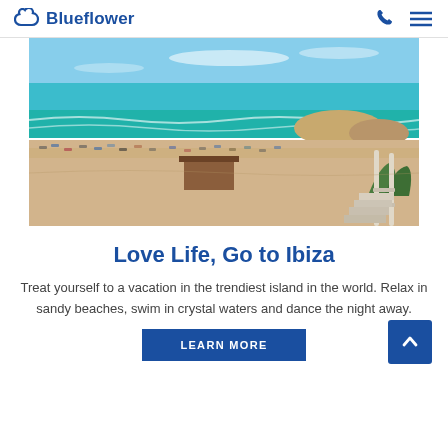Blueflower
[Figure (photo): Aerial view of Ibiza beach with turquoise water, sandy shore, beach umbrellas, sunbeds, a beach bar, rocky coastline, and stairway railing in the foreground]
Love Life, Go to Ibiza
Treat yourself to a vacation in the trendiest island in the world. Relax in sandy beaches, swim in crystal waters and dance the night away.
LEARN MORE